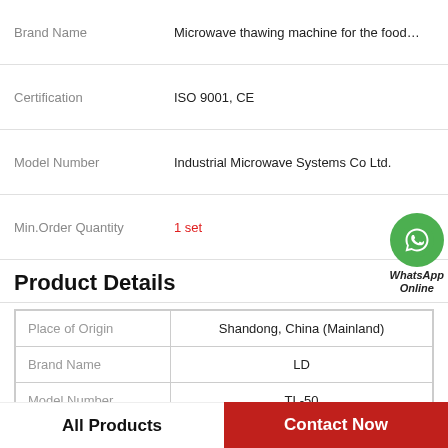| Field | Value |
| --- | --- |
| Brand Name | Microwave thawing machine for the food... |
| Certification | ISO 9001, CE |
| Model Number | Industrial Microwave Systems Co Ltd. |
| Min.Order Quantity | 1 set |
Product Details
| Field | Value |
| --- | --- |
| Place of Origin | Shandong, China (Mainland) |
| Brand Name | LD |
| Model Number | TL-50 |
| Type | porkskin,fish maw puffing machine, |
[Figure (logo): WhatsApp Online green circle badge with phone icon and text 'WhatsApp Online']
All Products
Contact Now